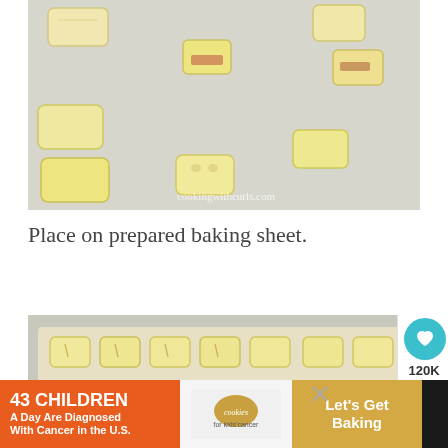[Figure (photo): Small rectangular dough pieces with fillings scattered on a light-colored baking mat/surface, viewed from above. Watermark: cookingwithcurls.com]
Place on prepared baking sheet.
[Figure (photo): Rows of small rectangular rolled dough pieces arranged on a baking sheet lined with parchment paper, showing slits on top]
[Figure (infographic): Advertisement banner: '43 CHILDREN A Day Are Diagnosed With Cancer in the U.S.' with cookies for kids cancer logo and Let's Get Baking text]